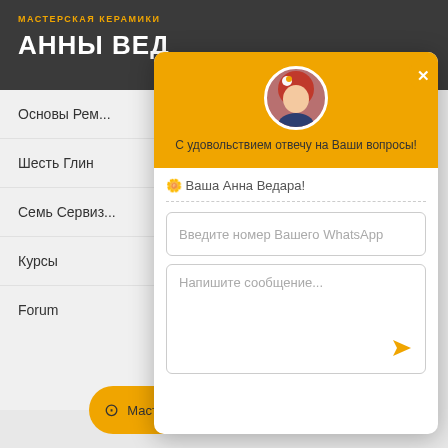МАСТЕРСКАЯ КЕРАМИКИ АННЫ ВЕД...
Основы Рем...
Шесть Глин
Семь Сервиз...
Курсы
Forum
[Figure (screenshot): Chat popup widget with yellow header, avatar of a red-haired woman, greeting text, WhatsApp number input, message textarea, and send button]
С удовольствием отвечу на Ваши вопросы!
🌼 Ваша Анна Ведара!
Введите номер Вашего WhatsApp
Напишите сообщение...
⊙ Мастерская керамики Анны Ведара